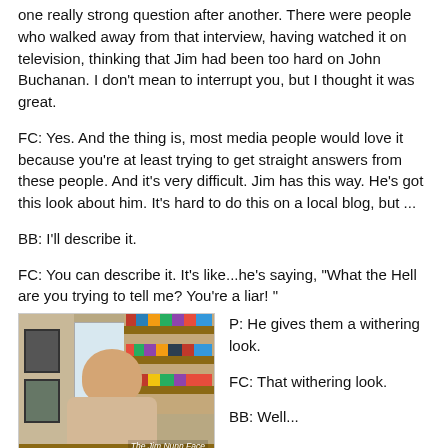one really strong question after another. There were people who walked away from that interview, having watched it on television, thinking that Jim had been too hard on John Buchanan. I don't mean to interrupt you, but I thought it was great.
FC: Yes. And the thing is, most media people would love it because you're at least trying to get straight answers from these people. And it's very difficult. Jim has this way. He's got this look about him. It's hard to do this on a local blog, but ...
BB: I'll describe it.
FC: You can describe it. It's like...he's saying, "What the Hell are you trying to tell me? You're a liar! "
[Figure (photo): Photo of a man sitting at a desk in an office with bookshelves and a window behind him. Caption reads 'The Jim Nunn Face'.]
P: He gives them a withering look.
FC: That withering look.
BB: Well...